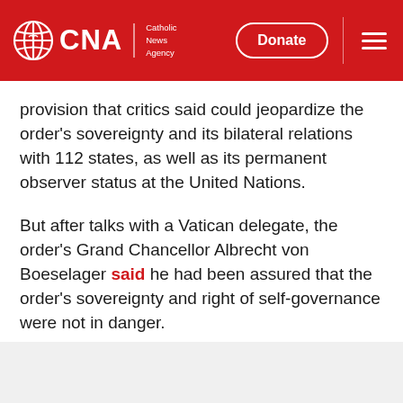CNA | Catholic News Agency — Donate
provision that critics said could jeopardize the order's sovereignty and its bilateral relations with 112 states, as well as its permanent observer status at the United Nations.
But after talks with a Vatican delegate, the order's Grand Chancellor Albrecht von Boeselager said he had been assured that the order's sovereignty and right of self-governance were not in danger.